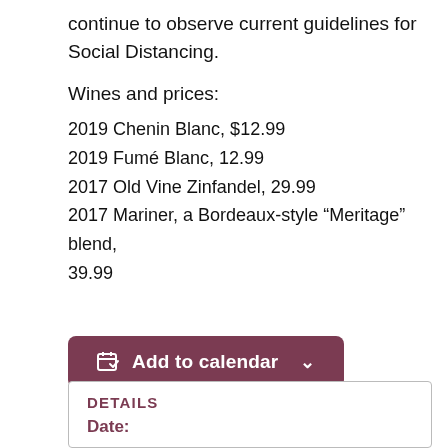continue to observe current guidelines for Social Distancing.
Wines and prices:
2019 Chenin Blanc, $12.99
2019 Fumé Blanc, 12.99
2017 Old Vine Zinfandel, 29.99
2017 Mariner, a Bordeaux-style “Meritage” blend, 39.99
[Figure (other): Add to calendar button with calendar icon and dropdown chevron, dark mauve/burgundy background]
DETAILS
Date: